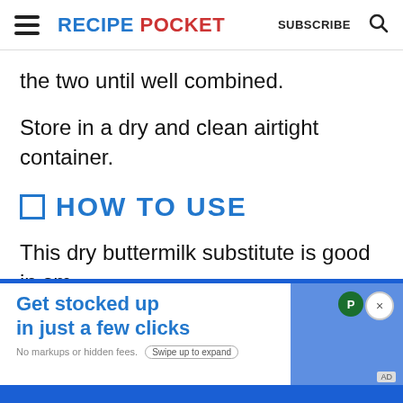RECIPE POCKET | SUBSCRIBE
the two until well combined.
Store in a dry and clean airtight container.
HOW TO USE
This dry buttermilk substitute is good in sm...
[Figure (other): Advertisement banner: 'Get stocked up in just a few clicks. No markups or hidden fees. Swipe up to expand.']